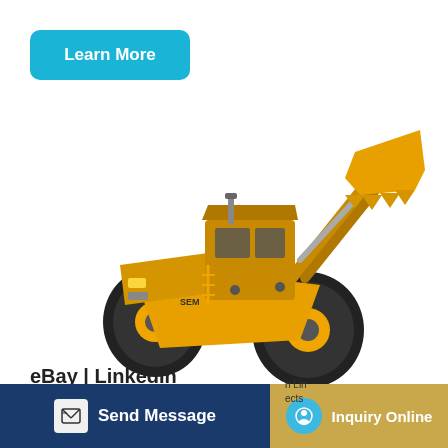Learn More
[Figure (photo): Yellow wheel loader / front-end loader construction machine photographed at an angle, showing the cab, lift arms raised, and bucket elevated, with large black tires]
eBay | LinkedIn
Send Message
Inquiry Online